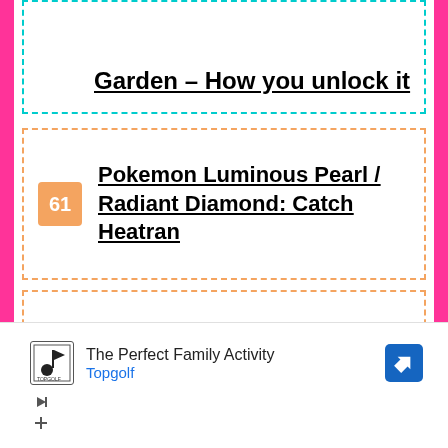Garden – How you unlock it
61 Pokemon Luminous Pearl / Radiant Diamond: Catch Heatran
62 Pokemon Luminous Pearl / Radiant Diamond: Catch Cresselia
63 Pokemon Luminous Pearl / Radiant Diamond: Tips and Tricks